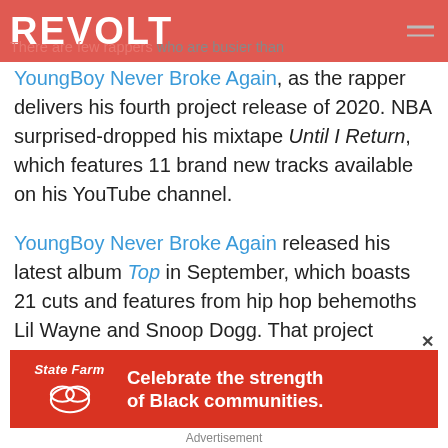REVOLT
There are few rappers who are busier than YoungBoy Never Broke Again, as the rapper delivers his fourth project release of 2020. NBA surprised-dropped his mixtape Until I Return, which features 11 brand new tracks available on his YouTube channel.
YoungBoy Never Broke Again released his latest album Top in September, which boasts 21 cuts and features from hip hop behemoths Lil Wayne and Snoop Dogg. That project landed YoungBoy his third number one album on the Billboard 200 thanks to 126,000 album equivalent units sold during its first w... Baby 2 and...
[Figure (other): State Farm advertisement banner: 'Celebrate the strength of Black communities.']